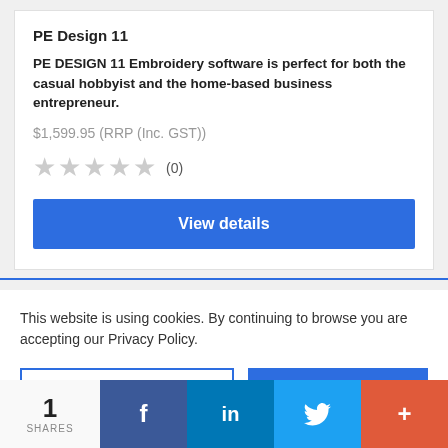PE Design 11
PE DESIGN 11 Embroidery software is perfect for both the casual hobbyist and the home-based business entrepreneur.
$1,599.95 (RRP (Inc. GST))
★★★★★ (0)
View details
This website is using cookies. By continuing to browse you are accepting our Privacy Policy.
Find out more
Accept
1 SHARES  f  in  🐦  +